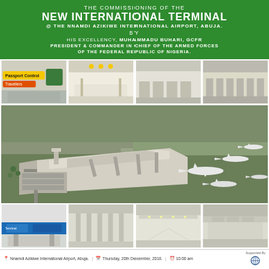THE COMMISSIONING OF THE NEW INTERNATIONAL TERMINAL @ THE NNAMDI AZIKIWE INTERNATIONAL AIRPORT, ABUJA. BY HIS EXCELLENCY, MUHAMMADU BUHARI, GCFR PRESIDENT & COMMANDER IN CHIEF OF THE ARMED FORCES OF THE FEDERAL REPUBLIC OF NIGERIA.
[Figure (photo): Four photos of the airport terminal interior: passport control sign, departure hall, check-in area, and another terminal view]
[Figure (photo): Aerial architectural rendering/model of the new international terminal showing the full complex with parked aircraft]
[Figure (photo): Four photos of the airport terminal interior: entrance doors with blue signage, columns hall, long corridor, and open terminal space]
Nnamdi Azikiwe International Airport, Abuja.  Thursday, 20th December, 2018.  10:00 am  Supported By